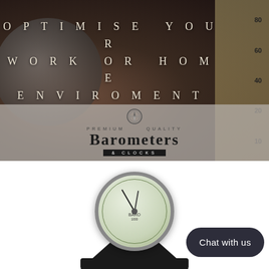[Figure (photo): Hero banner with dark-toned close-up of barometers/thermometers. A large circular barometer on the left and a thermometer scale on the right with numbers 80, 60, 40, 20. Overlaid white spaced text reads OPTIMISE YOUR WORK OR HOME ENVIROMENT. Bottom of hero has a semi-transparent grey band with compass icon, text PREMIUM QUALITY BAROMETERS & CLOCKS.]
[Figure (photo): Product photo: a chrome/metal barometer instrument mounted on a black angular pyramid-shaped stand, shown cropped at the bottom of the page. A dark rounded-rectangle Chat with us button overlays the bottom right.]